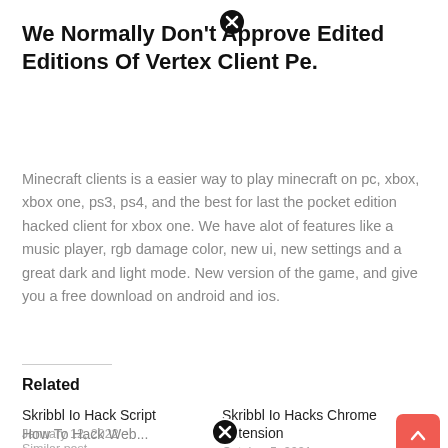We Normally Don't Approve Edited Editions Of Vertex Client Pe.
Minecraft clients is a easier way to play minecraft on pc, xbox, xbox one, ps3, ps4, and the best for last the pocket edition hacked client for xbox one. We have alot of features like a music player, rgb damage color, new ui, new settings and a great dark and light mode. New version of the game, and give you a free download on android and ios.
Related
Skribbl Io Hack Script
January 12, 2022
Similar post
Skribbl Io Hacks Chrome Extension
October 5, 2021
Similar post